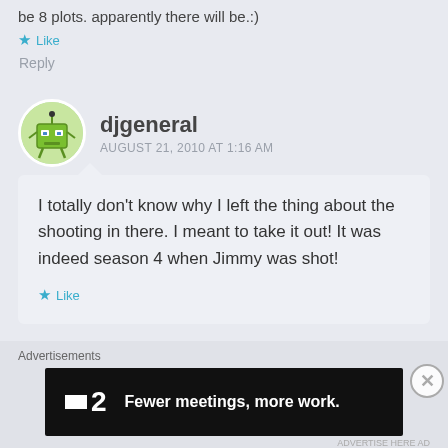be 8 plots. apparently there will be.:)
Like
Reply
djgeneral
AUGUST 21, 2010 AT 1:16 AM
I totally don't know why I left the thing about the shooting in there. I meant to take it out! It was indeed season 4 when Jimmy was shot!
Like
Advertisements
[Figure (screenshot): Advertisement banner: black background with small white rectangle icon, number '2', and text 'Fewer meetings, more work.']